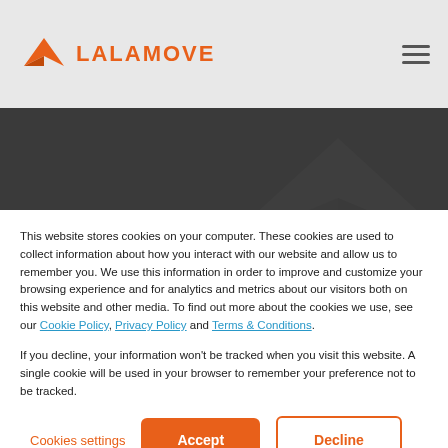LALAMOVE
[Figure (illustration): Dark banner with 'Blog' text in orange and a faint bird logo watermark in the background]
This website stores cookies on your computer. These cookies are used to collect information about how you interact with our website and allow us to remember you. We use this information in order to improve and customize your browsing experience and for analytics and metrics about our visitors both on this website and other media. To find out more about the cookies we use, see our Cookie Policy, Privacy Policy and Terms & Conditions.
If you decline, your information won't be tracked when you visit this website. A single cookie will be used in your browser to remember your preference not to be tracked.
Cookies settings | Accept | Decline